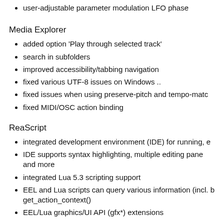user-adjustable parameter modulation LFO phase
Media Explorer
added option 'Play through selected track'
search in subfolders
improved accessibility/tabbing navigation
fixed various UTF-8 issues on Windows ..
fixed issues when using preserve-pitch and tempo-matc
fixed MIDI/OSC action binding
ReaScript
integrated development environment (IDE) for running, e
IDE supports syntax highlighting, multiple editing pane and more
integrated Lua 5.3 scripting support
EEL and Lua scripts can query various information (incl. b get_action_context()
EEL/Lua graphics/UI API (gfx*) extensions